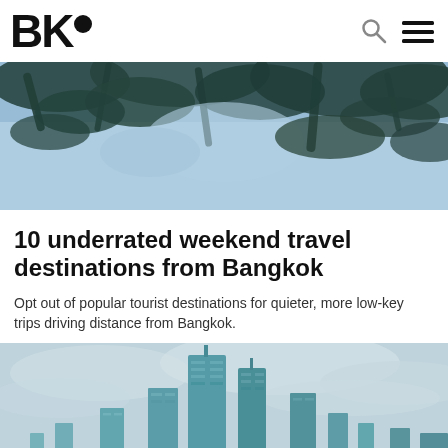BK•
[Figure (photo): Close-up photo looking up through tree branches and leaves with a blue tinted sky, duotone blue/teal color treatment]
10 underrated weekend travel destinations from Bangkok
Opt out of popular tourist destinations for quieter, more low-key trips driving distance from Bangkok.
[Figure (photo): Photo of tall modern skyscraper buildings in Bangkok city skyline with teal/blue color treatment and cloudy sky, with golden/yellow rooftops visible in the foreground]